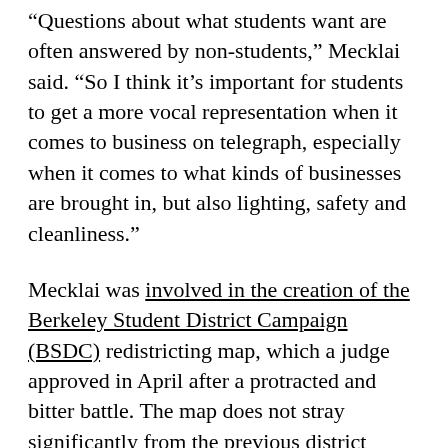“Questions about what students want are often answered by non-students,” Mecklai said. “So I think it’s important for students to get a more vocal representation when it comes to business on telegraph, especially when it comes to what kinds of businesses are brought in, but also lighting, safety and cleanliness.”
Mecklai was involved in the creation of the Berkeley Student District Campaign (BSDC) redistricting map, which a judge approved in April after a protracted and bitter battle. The map does not stray significantly from the previous district boundaries, but includes more students. The district now stretches south from Hearst Street, and has an eastern boundary on Piedmont Avenue, encompassing most of the